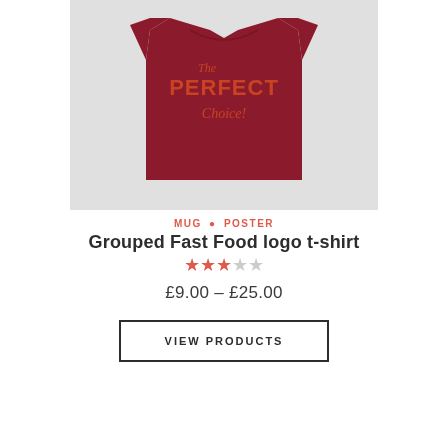[Figure (photo): A dark red/maroon t-shirt worn by a model, featuring text 'The PERFECT Choice!' printed on the chest in orange/red lettering, photographed against a light grey background.]
MUG • POSTER
Grouped Fast Food logo t-shirt
★★★☆☆ (3 out of 5 stars)
£9.00 – £25.00
VIEW PRODUCTS